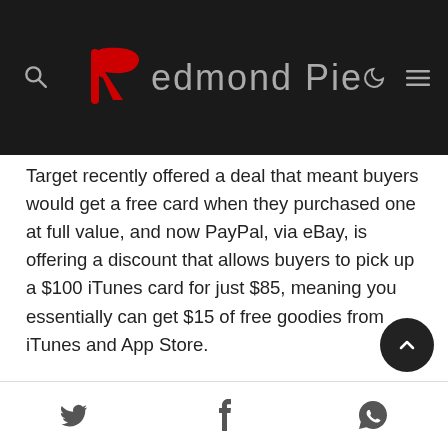Redmond Pie
Target recently offered a deal that meant buyers would get a free card when they purchased one at full value, and now PayPal, via eBay, is offering a discount that allows buyers to pick up a $100 iTunes card for just $85, meaning you essentially can get $15 of free goodies from iTunes and App Store.
Social share icons: Twitter, Facebook, WhatsApp